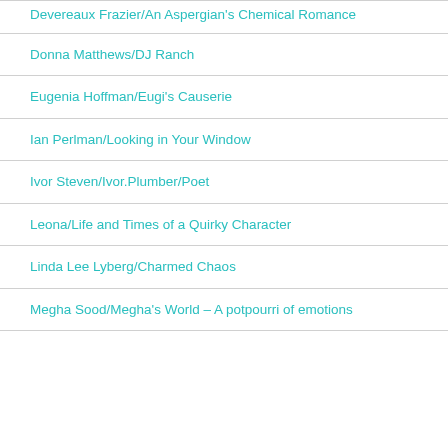Devereaux Frazier/An Aspergian's Chemical Romance
Donna Matthews/DJ Ranch
Eugenia Hoffman/Eugi's Causerie
Ian Perlman/Looking in Your Window
Ivor Steven/Ivor.Plumber/Poet
Leona/Life and Times of a Quirky Character
Linda Lee Lyberg/Charmed Chaos
Megha Sood/Megha's World – A potpourri of emotions